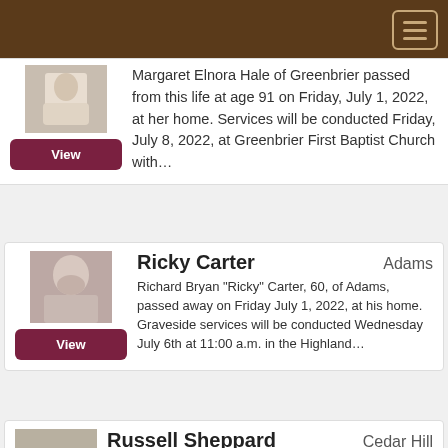Margaret Elnora Hale of Greenbrier passed from this life at age 91 on Friday, July 1, 2022, at her home. Services will be conducted Friday, July 8, 2022, at Greenbrier First Baptist Church with...
Ricky Carter   Adams
Richard Bryan “Ricky” Carter, 60, of Adams, passed away on Friday July 1, 2022, at his home. Graveside services will be conducted Wednesday July 6th at 11:00 a.m. in the Highland...
Russell Sheppard   Cedar Hill